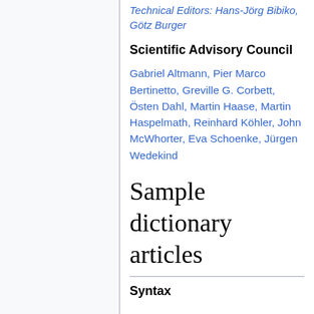Technical Editors: Hans-Jörg Bibiko, Götz Burger
Scientific Advisory Council
Gabriel Altmann, Pier Marco Bertinetto, Greville G. Corbett, Östen Dahl, Martin Haase, Martin Haspelmath, Reinhard Köhler, John McWhorter, Eva Schoenke, Jürgen Wedekind
Sample dictionary articles
Syntax